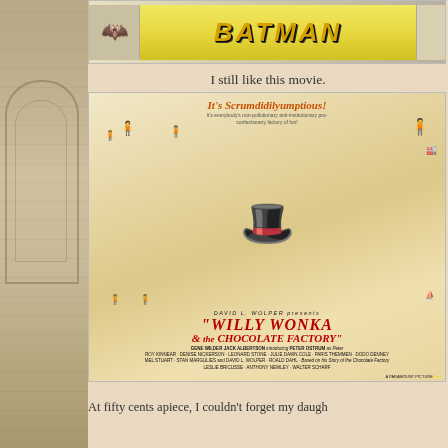[Figure (photo): Partial Batman movie poster/image strip at the top, showing 'BATMAN' text in yellow on dark background]
I still like this movie.
[Figure (photo): Willy Wonka & the Chocolate Factory movie poster. Features Willy Wonka (Gene Wilder) with arms outstretched, various characters around him. Text: 'It's Scrumdidilyumptious! It's everybody's non-pollutionary anti-institutionary pro-confectionery factory of fun!' 'DAVID L. WOLPER presents WILLY WONKA & the CHOCOLATE FACTORY' with cast including GENE WILDER, JACK ALBERTSON, PETER OSTRUM, and others. A Paramount Picture.]
At fifty cents apiece, I couldn't forget my daugh